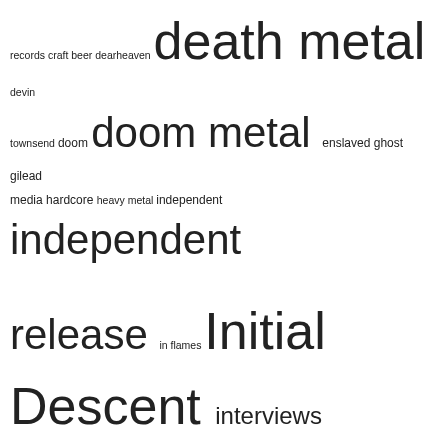[Figure (other): Tag cloud of music-related tags and band/label names with varying font sizes indicating frequency/importance. Tags include: records craft beer dearheaven, death metal, devin townsend, doom, doom metal, enslaved, ghost, gilead media, hardcore, heavy metal, independent, independent release, in flames, Initial Descent, interviews, iron maiden, lamb of god, mastodon, megadeth, metal, metal blade records, metallica, napalm records, new releases, Nine Circles ov..., nuclear blast, nuclear blast records, opeth, pelagic records, Playlists, podcast, post-metal, power metal, profile, profound lore, progressive metal, prosthetic records, rainbows in the dark, Receiving the Evcharist, relapse records, season of mist, slayer, slipknot, sludge, sludge metal, tbt, the nine circles audio thing, thrash metal, tribulation]